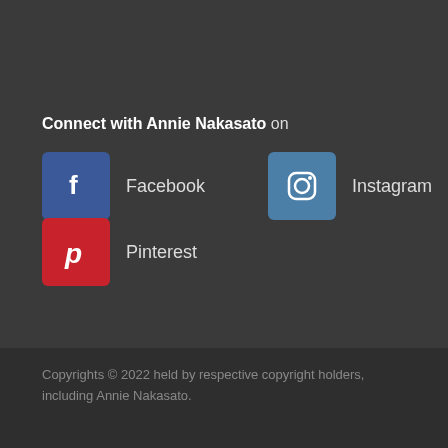Connect with Annie Nakasato on
Facebook
Instagram
Pinterest
Copyrights © 2022 held by respective copyright holders, including Annie Nakasato.